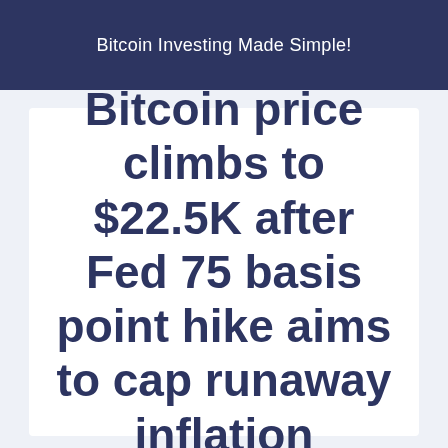Bitcoin Investing Made Simple!
Bitcoin price climbs to $22.5K after Fed 75 basis point hike aims to cap runaway inflation